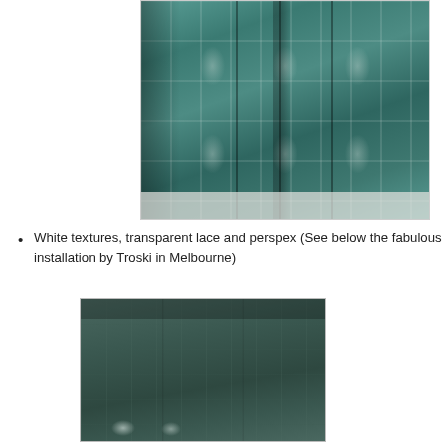[Figure (photo): A decorative folding screen/room divider with teal and cream damask floral pattern fabric covering the panels, photographed against a white background.]
White textures, transparent lace and perspex (See below the fabulous installation by Troski in Melbourne)
[Figure (photo): A dark teal/green installation artwork showing translucent panels with subtle texture and reflective perspex surfaces, photographed in a gallery setting in Melbourne.]